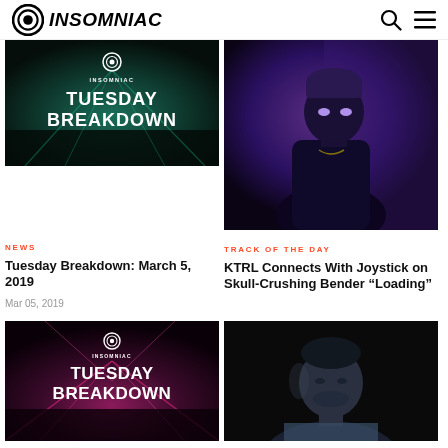INSOMNIAC
[Figure (screenshot): Tuesday Breakdown promotional image with teal stage lighting and crowd, white text TUESDAY BREAKDOWN on dark background with Insomniac logo]
NEWS
Tuesday Breakdown: March 5, 2019
Mar 05, 2019
[Figure (photo): Artist photo: person wearing a beanie and dark clothing under purple/blue lighting, glowing eyes effect]
TRACK OF THE DAY
KTRL Connects With Joystick on Skull-Crushing Bender “Loading”
[Figure (screenshot): Tuesday Breakdown promotional image with pink/red stage lighting and laser beams over crowd, white text TUESDAY BREAKDOWN with Insomniac logo]
[Figure (photo): Artist headshot: man with dark hair and stubble in a light blue shirt against a dark background]